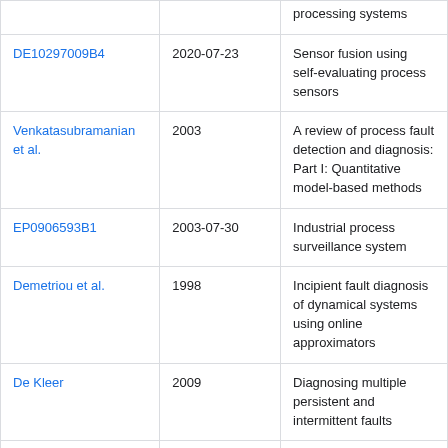| Reference | Date | Title |
| --- | --- | --- |
| DE10297009B4 | 2020-07-23 | Sensor fusion using self-evaluating process sensors |
| Venkatasubramanian et al. | 2003 | A review of process fault detection and diagnosis: Part I: Quantitative model-based methods |
| EP0906593B1 | 2003-07-30 | Industrial process surveillance system |
| Demetriou et al. | 1998 | Incipient fault diagnosis of dynamical systems using online approximators |
| De Kleer | 2009 | Diagnosing multiple persistent and intermittent faults |
| US8892478B1 | 2014-11-18 | Adaptive model training system and method |